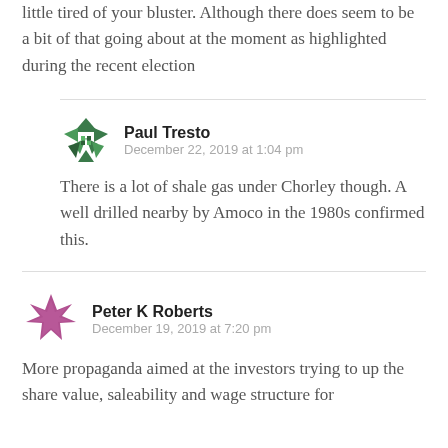little tired of your bluster. Although there does seem to be a bit of that going about at the moment as highlighted during the recent election
Paul Tresto
December 22, 2019 at 1:04 pm
There is a lot of shale gas under Chorley though. A well drilled nearby by Amoco in the 1980s confirmed this.
Peter K Roberts
December 19, 2019 at 7:20 pm
More propaganda aimed at the investors trying to up the share value, saleability and wage structure for